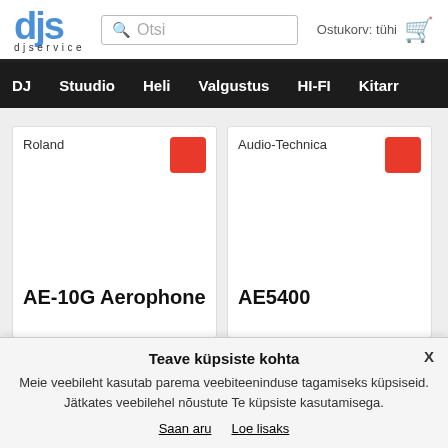[Figure (logo): DJS djservice logo in blue text]
[Figure (screenshot): Search bar with magnifying glass icon and placeholder 'Otsi']
Ostukorv: tühi
DJ  Stuudio  Heli  Valgustus  HI-FI  Kitarr
Roland
AE-10G Aerophone
Audio-Technica
AE5400
Teave küpsiste kohta
Meie veebileht kasutab parema veebiteeninduse tagamiseks küpsiseid. Jätkates veebilehel nõustute Te küpsiste kasutamisega.
Saan aru
Loe lisaks